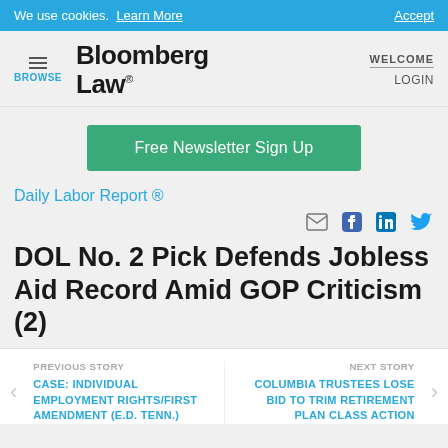We use cookies. Learn More   Accept
[Figure (logo): Bloomberg Law logo with hamburger menu and Browse label on left, WELCOME and LOGIN on right]
Free Newsletter Sign Up
Daily Labor Report ®
[Figure (other): Social sharing icons: email, Facebook, LinkedIn, Twitter]
DOL No. 2 Pick Defends Jobless Aid Record Amid GOP Criticism (2)
PREVIOUS STORY
CASE: INDIVIDUAL EMPLOYMENT RIGHTS/FIRST AMENDMENT (E.D. TENN.)
NEXT STORY
COLUMBIA TRUSTEES LOSE BID TO TRIM RETIREMENT PLAN CLASS ACTION